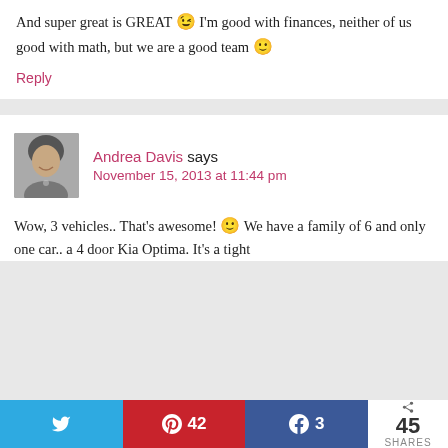And super great is GREAT 😉 I'm good with finances, neither of us good with math, but we are a good team 🙂
Reply
Andrea Davis says
November 15, 2013 at 11:44 pm
Wow, 3 vehicles.. That’s awesome! 🙂 We have a family of 6 and only one car.. a 4 door Kia Optima. It’s a tight
45 SHARES